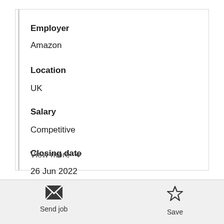Employer
Amazon
Location
UK
Salary
Competitive
Closing date
26 Jun 2022
View more
Send job
Save